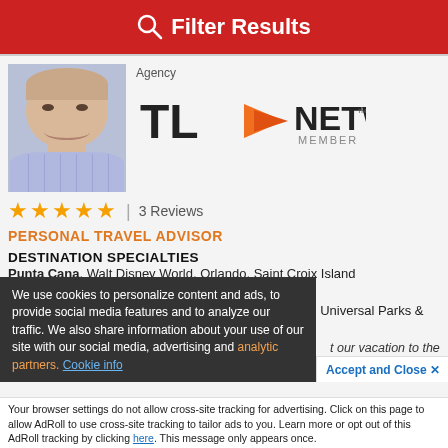Filter Results
Agency
[Figure (logo): TL Network Member logo with orange arrow]
[Figure (photo): Profile photo of a man in a light blue checkered shirt, smiling]
★★★★★ | 3 Reviews
PERSONAL TRAVEL ADVISOR
DESTINATION SPECIALTIES
Punta Cana, Walt Disney World, Orlando, Saint Croix Island
INTEREST SPECIALTIES
Beach Vacations, Disney Vacations, Theatre & Music, Universal Parks & Resort Vacations
We use cookies to personalize content and ads, to provide social media features and to analyze our traffic. We also share information about your use of our site with our social media, advertising and analytic partners. Cookie info
t our vacation to the
l the wedding and
Accept and Close ✕
Your browser settings do not allow cross-site tracking for advertising. Click on this page to allow AdRoll to use cross-site tracking to tailor ads to you. Learn more or opt out of this AdRoll tracking by clicking here. This message only appears once.